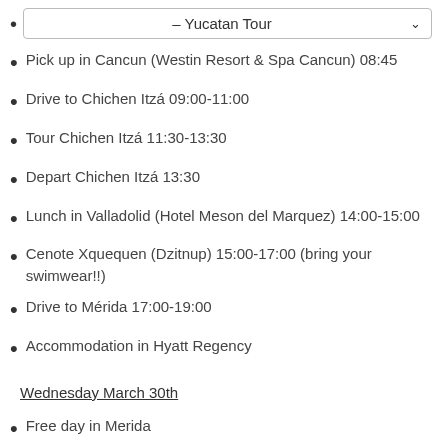– Yucatan Tour (dropdown)
Pick up in Cancun (Westin Resort & Spa Cancun) 08:45
Drive to Chichen Itzá 09:00-11:00
Tour Chichen Itzá 11:30-13:30
Depart Chichen Itzá 13:30
Lunch in Valladolid (Hotel Meson del Marquez) 14:00-15:00
Cenote Xquequen (Dzitnup) 15:00-17:00 (bring your swimwear!!)
Drive to Mérida 17:00-19:00
Accommodation in Hyatt Regency
Wednesday March 30th
Free day in Merida
Vans available to take guests on any private